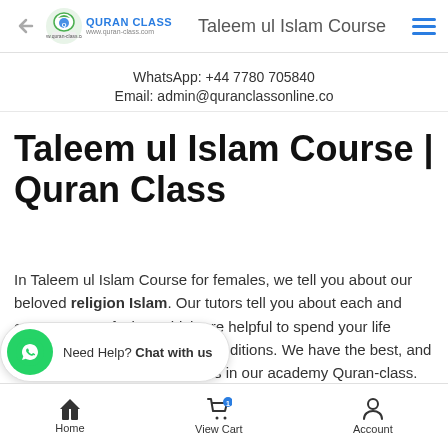[Figure (logo): Quran Class logo with back arrow and hamburger menu, nav bar with title 'Taleem ul Islam Course']
WhatsApp: +44 7780 705840
Email: admin@quranclassonline.co
Taleem ul Islam Course | Quran Class
In Taleem ul Islam Course for females, we tell you about our beloved religion Islam. Our tutors tell you about each and every aspect of Islam which are helpful to spend your life according to Islam rules and conditions. We have the best, and certified online female teachers in our academy Quran-class. They are highly ex...ec...men and children. Our
[Figure (screenshot): WhatsApp chat widget at bottom left: green circle with phone icon, text 'Need Help? Chat with us']
Home   View Cart   Account